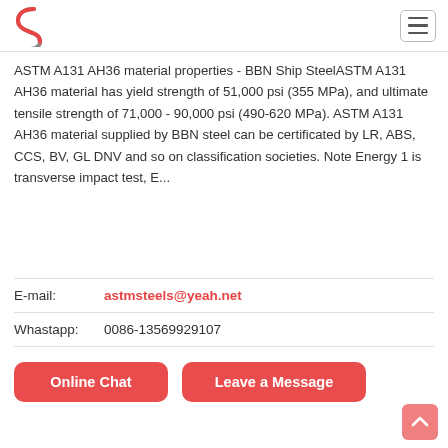[Figure (logo): BBN Steel logo - stylized S with red and gray colors]
ASTM A131 AH36 material properties - BBN Ship SteelASTM A131 AH36 material has yield strength of 51,000 psi (355 MPa), and ultimate tensile strength of 71,000 - 90,000 psi (490-620 MPa). ASTM A131 AH36 material supplied by BBN steel can be certificated by LR, ABS, CCS, BV, GL DNV and so on classification societies. Note Energy 1 is transverse impact test, E...
E-mail:   astmsteels@yeah.net
Whastapp:  0086-13569929107